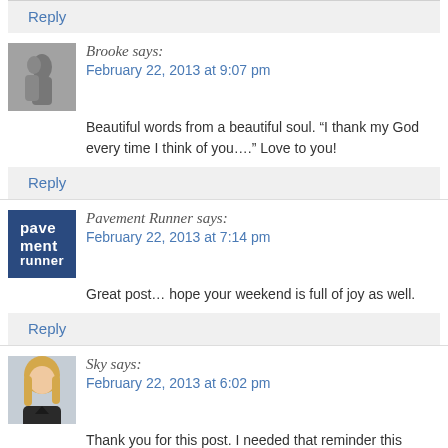Reply
Brooke says:
February 22, 2013 at 9:07 pm
Beautiful words from a beautiful soul. “I thank my God every time I think of you….” Love to you!
Reply
Pavement Runner says:
February 22, 2013 at 7:14 pm
Great post… hope your weekend is full of joy as well.
Reply
Sky says:
February 22, 2013 at 6:02 pm
Thank you for this post. I needed that reminder this week!